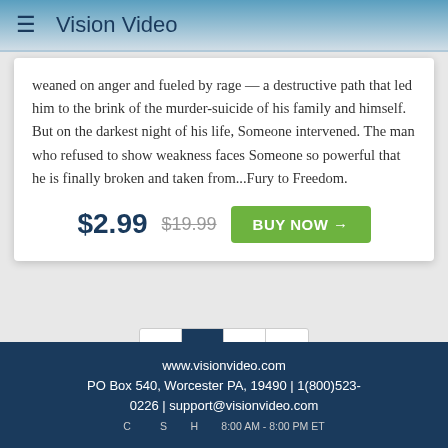Vision Video
weaned on anger and fueled by rage — a destructive path that led him to the brink of the murder-suicide of his family and himself. But on the darkest night of his life, Someone intervened. The man who refused to show weakness faces Someone so powerful that he is finally broken and taken from...Fury to Freedom.
$2.99  $19.99  BUY NOW →
‹  1  2  ›
www.visionvideo.com
PO Box 540, Worcester PA, 19490 | 1(800)523-0226 | support@visionvideo.com
Customer Service Hours 8:00 AM - 8:00 PM ET